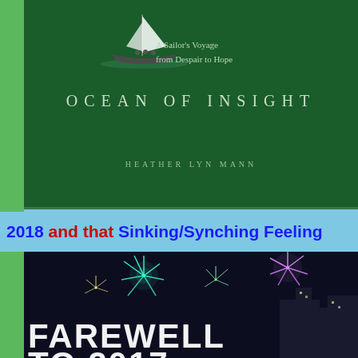[Figure (illustration): Book cover for 'Ocean of Insight' by Heather Lyn Mann. Dark green background with a sailboat illustration at top. Subtitle: 'A Sailor's Voyage from Despair to Hope'. Title in spaced letters: OCEAN OF INSIGHT. Author name: HEATHER LYN MANN.]
2018 and that Sinking/Synching Feeling
[Figure (photo): Night fireworks photo with city skyline. Large text overlay reads 'FAREWELL TO 2017'. Fireworks in teal and purple colors over urban buildings.]